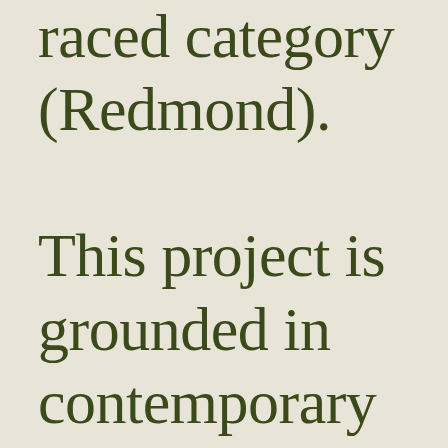raced category (Redmond). This project is grounded in contemporary sociological